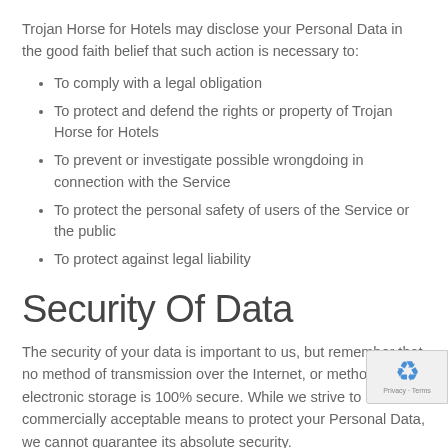Trojan Horse for Hotels may disclose your Personal Data in the good faith belief that such action is necessary to:
To comply with a legal obligation
To protect and defend the rights or property of Trojan Horse for Hotels
To prevent or investigate possible wrongdoing in connection with the Service
To protect the personal safety of users of the Service or the public
To protect against legal liability
Security Of Data
The security of your data is important to us, but remember that no method of transmission over the Internet, or method of electronic storage is 100% secure. While we strive to use commercially acceptable means to protect your Personal Data, we cannot guarantee its absolute security.